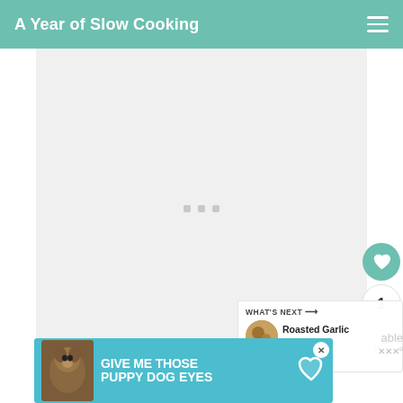A Year of Slow Cooking
[Figure (photo): Loading placeholder area with three small gray squares in the center on a light gray background]
[Figure (infographic): Heart (like) button in teal/green circle, count badge showing 1, and share button below]
WHAT'S NEXT → Roasted Garlic in the...
[Figure (photo): Small circular thumbnail of roasted garlic dish]
[Figure (infographic): Advertisement banner: GIVE ME THOSE PUPPY DOG EYES with dog photo and heart icon on teal background]